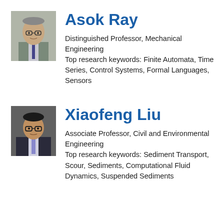[Figure (photo): Headshot photo of Asok Ray, older male professor]
Asok Ray
Distinguished Professor, Mechanical Engineering
Top research keywords: Finite Automata, Time Series, Control Systems, Formal Languages, Sensors
[Figure (photo): Headshot photo of Xiaofeng Liu, male professor wearing glasses]
Xiaofeng Liu
Associate Professor, Civil and Environmental Engineering
Top research keywords: Sediment Transport, Scour, Sediments, Computational Fluid Dynamics, Suspended Sediments